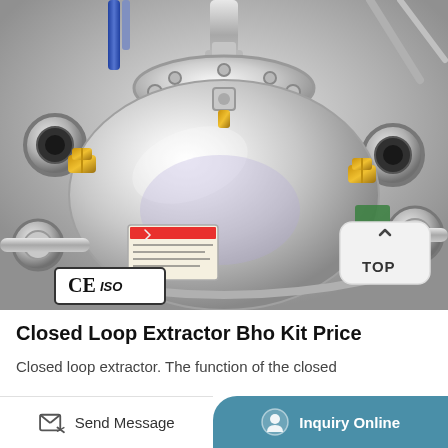[Figure (photo): Close-up photograph of a stainless steel closed loop extractor BHO kit. The device has a polished cylindrical pressure vessel with multiple fittings, clamps, valves, and connectors on top and sides. CE and ISO certification badges are visible in the lower left. A 'TOP' navigation button appears in the lower right of the image.]
Closed Loop Extractor Bho Kit Price
Closed loop extractor. The function of the closed
Send Message | Inquiry Online